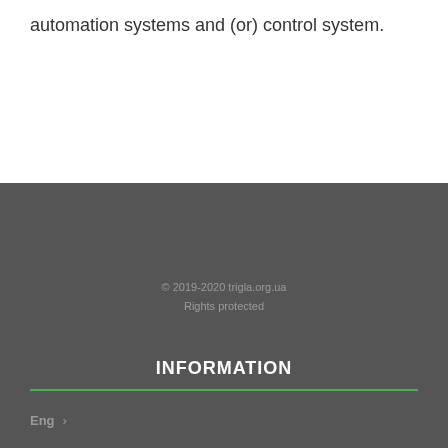automation systems and (or) control system.
© 2019-2020 trigla.org.ua
Rights protected
INFORMATION
Eng >